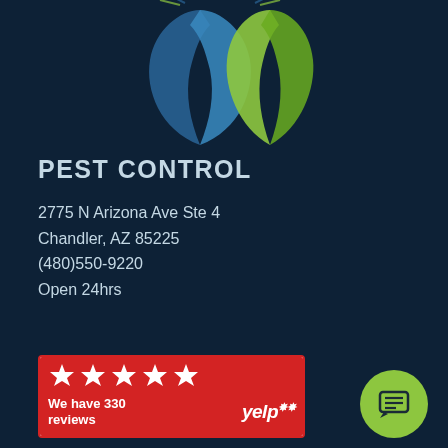[Figure (logo): Pest control company logo with stylized blue and green shield/leaf shapes at top of page]
PEST CONTROL
2775 N Arizona Ave Ste 4
Chandler, AZ 85225
(480)550-9220
Open 24hrs
[Figure (other): Yelp badge showing 5 stars and text 'We have 330 reviews' with Yelp logo on red background]
ARIZONA'S BEST EXTERMINATORS
Affordable, efficient, and environmentally safe pest company. We offer Organically Derived Products that are safe for pets and kids